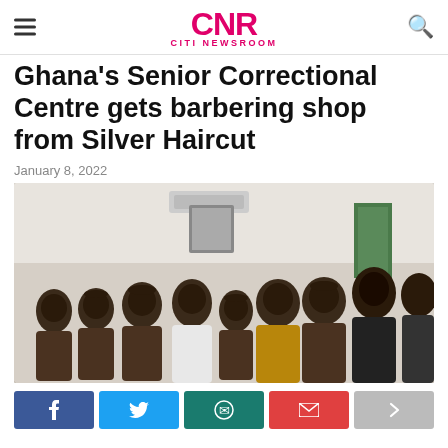CNR CITI NEWSROOM
Ghana's Senior Correctional Centre gets barbering shop from Silver Haircut
January 8, 2022
[Figure (photo): Group photo of several people in brown uniforms (correctional officers) and two civilians in white shirt and gold patterned shirt, standing together indoors in a room with white walls and an air conditioner.]
Share buttons: Facebook, Twitter, WhatsApp, Email, Forward